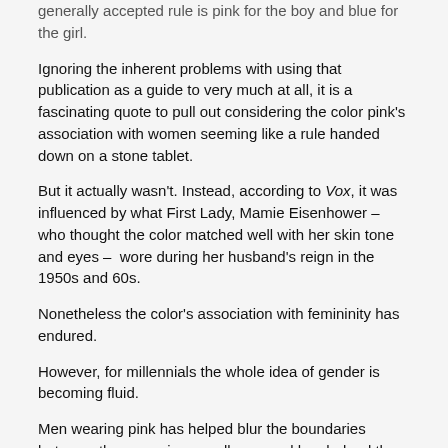generally accepted rule is pink for the boy and blue for the girl.
Ignoring the inherent problems with using that publication as a guide to very much at all, it is a fascinating quote to pull out considering the color pink's association with women seeming like a rule handed down on a stone tablet.
But it actually wasn't. Instead, according to Vox, it was influenced by what First Lady, Mamie Eisenhower – who thought the color matched well with her skin tone and eyes – wore during her husband's reign in the 1950s and 60s.
Nonetheless the color's association with femininity has endured.
However, for millennials the whole idea of gender is becoming fluid.
Men wearing pink has helped blur the boundaries between the sexes in a small way, and has helped the color develop a ubiquity similar to what beige experienced to some degree in the 90s.
But it's extended far beyond the occasional shirt or pair of pants into full sweats and suits bathed in the color.